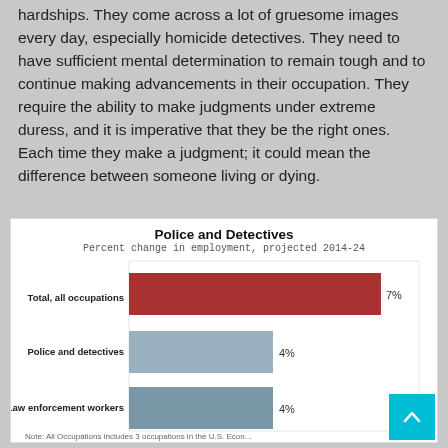hardships. They come across a lot of gruesome images every day, especially homicide detectives. They need to have sufficient mental determination to remain tough and to continue making advancements in their occupation. They require the ability to make judgments under extreme duress, and it is imperative that they be the right ones. Each time they make a judgment; it could mean the difference between someone living or dying.
[Figure (bar-chart): Police and Detectives]
Note: All Occupations includes 3 occupations in the U.S. Econ...